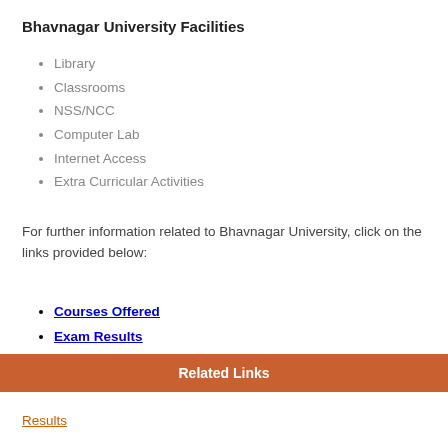Bhavnagar University Facilities
Library
Classrooms
NSS/NCC
Computer Lab
Internet Access
Extra Curricular Activities
For further information related to Bhavnagar University, click on the links provided below:
Courses Offered
Exam Results
Contact Details
Related Links
Results